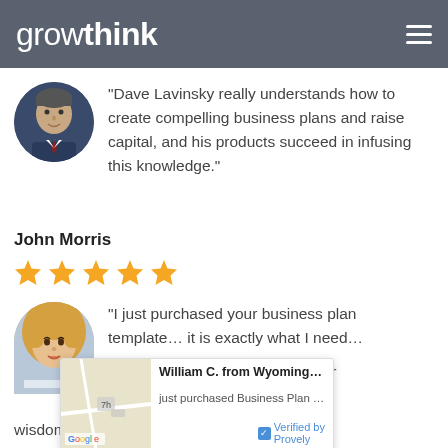growthink
[Figure (photo): Circular headshot of a middle-aged man in a suit and tie]
“Dave Lavinsky really understands how to create compelling business plans and raise capital, and his products succeed in infusing this knowledge.”
John Morris
[Figure (other): Five orange star rating icons]
[Figure (photo): Headshot of a blonde woman]
“I just purchased your business plan template… it is exactly what I need…
[Figure (screenshot): Tooltip overlay showing a Google Map thumbnail, 'William C. from Wyoming, Rho...' name, 'just purchased Business Plan Te...' description, and 'Verified by Provely' badge]
usiness in bad he glue that r your wisdom!”